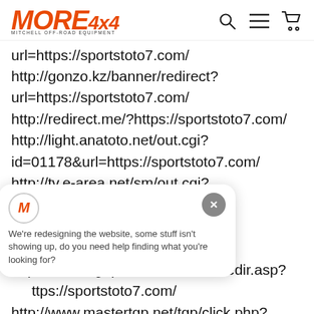MORE 4x4 logo with search, menu, and cart icons
url=https://sportstoto7.com/
http://gonzo.kz/banner/redirect?url=https://sportstoto7.com/
http://redirect.me/?https://sportstoto7.com/
http://light.anatoto.net/out.cgi?id=01178&url=https://sportstoto7.com/
http://tv.e-area.net/sm/out.cgi?...7.com/
/out.cgi?...7.com/
http://www.highpoint.net/ASP/adredir.asp?...ttps://sportstoto7.com/
http://www.mastertgp.net/tgp/click.php?id=353693&u=https://sportstoto7.com/
[Figure (screenshot): Chat popup overlay with MORE 4x4 M logo icon, close X button, and message: We're redesigning the website, some stuff isn't showing up, do you need help finding what you're looking for?]
[Figure (illustration): Orange speech bubble / chat icon in bottom left corner]